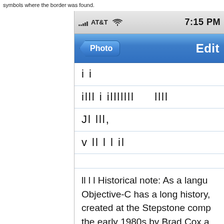symbols where the border was found.
[Figure (screenshot): iPhone screenshot showing AT&T carrier, 7:15 PM time, navigation bar with Photo back button and Edit title, and note content with vertical bar symbols and partial text about Objective-C historical note]